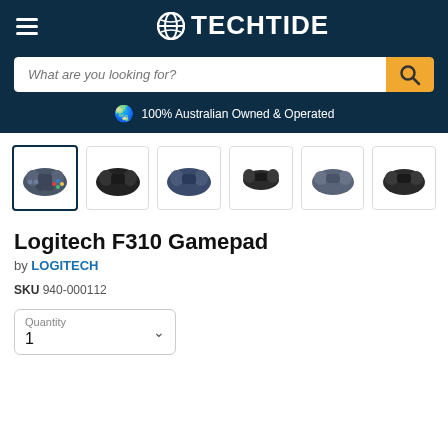TECHTIDE
What are you looking for?
🌏 100% Australian Owned & Operated
[Figure (photo): Six product thumbnail images of the Logitech F310 Gamepad from different angles, with the first thumbnail selected/highlighted with a dark border.]
Logitech F310 Gamepad
by LOGITECH
SKU 940-000112
Quantity 1